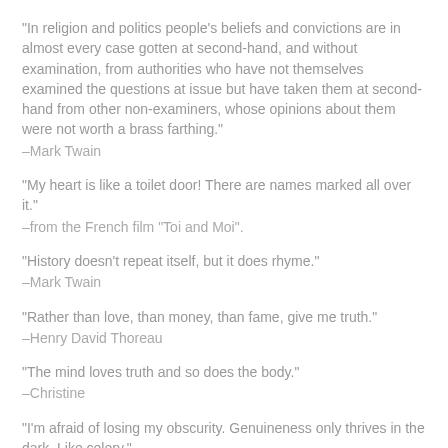“In religion and politics people’s beliefs and convictions are in almost every case gotten at second-hand, and without examination, from authorities who have not themselves examined the questions at issue but have taken them at second-hand from other non-examiners, whose opinions about them were not worth a brass farthing.” –Mark Twain
“My heart is like a toilet door! There are names marked all over it.” –from the French film “Toi and Moi”.
“History doesn’t repeat itself, but it does rhyme.” –Mark Twain
“Rather than love, than money, than fame, give me truth.” –Henry David Thoreau
“The mind loves truth and so does the body.” –Christine
“I’m afraid of losing my obscurity. Genuineness only thrives in the dark. Like celery.” –Aldous Huxley
“There is a light that shines beyond all things on earth, beyond the